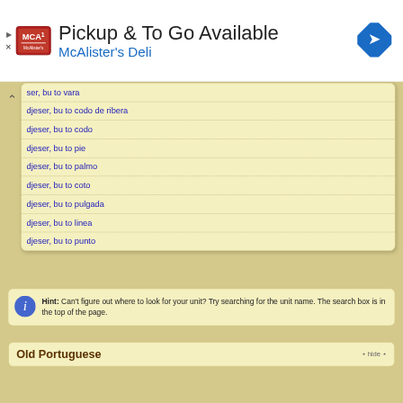[Figure (screenshot): Advertisement banner for McAlister's Deli showing logo, 'Pickup & To Go Available' heading, and navigation arrow icon]
ser, bu to vara
djeser, bu to codo de ribera
djeser, bu to codo
djeser, bu to pie
djeser, bu to palmo
djeser, bu to coto
djeser, bu to pulgada
djeser, bu to linea
djeser, bu to punto
Hint: Can't figure out where to look for your unit? Try searching for the unit name. The search box is in the top of the page.
Old Portuguese